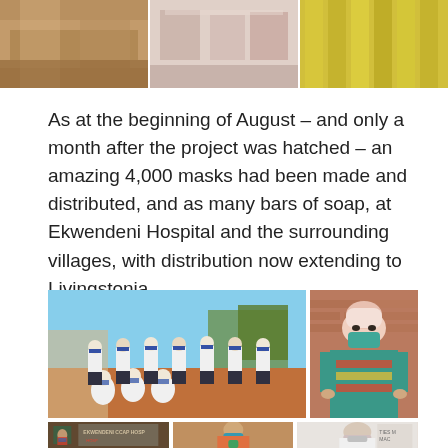[Figure (photo): Top row of three photographs showing mask-making and fabric materials]
As at the beginning of August – and only a month after the project was hatched – an amazing 4,000 masks had been made and distributed, and as many bars of soap, at Ekwendeni Hospital and the surrounding villages, with distribution now extending to Livingstonia.
[Figure (photo): Large group photo of women in white uniforms wearing blue face masks outdoors on a red dirt road]
[Figure (photo): Portrait of an elderly person wearing a pink head covering and teal/blue face mask with colorful traditional garments]
[Figure (photo): Bottom row of three photos: Ekwendeni CCAP Hospital sign with masked person, woman in pink wearing mask, woman in white wearing mask]